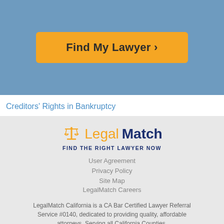[Figure (other): Yellow 'Find My Lawyer >' button on blue background]
Creditors' Rights in Bankruptcy
[Figure (logo): LegalMatch logo with scales of justice icon, text 'Legal' in gold and 'Match' in navy, tagline 'FIND THE RIGHT LAWYER NOW']
User Agreement
Privacy Policy
Site Map
LegalMatch Careers
LegalMatch California is a CA Bar Certified Lawyer Referral Service #0140, dedicated to providing quality, affordable attorneys. Serving all California Counties. For technical help call (415) 946-3744